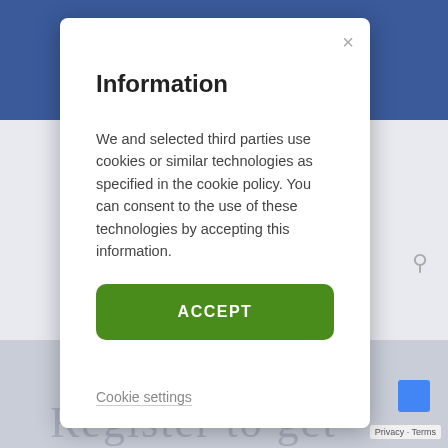Information
We and selected third parties use cookies or similar technologies as specified in the cookie policy. You can consent to the use of these technologies by accepting this information.
ACCEPT
Cookie settings